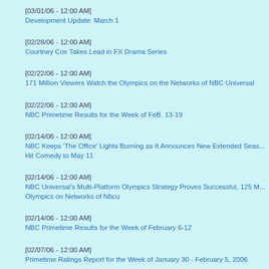[03/01/06 - 12:00 AM]
Development Update: March 1
[02/28/06 - 12:00 AM]
Courtney Cox Takes Lead in FX Drama Series
[02/22/06 - 12:00 AM]
171 Million Viewers Watch the Olympics on the Networks of NBC Universal
[02/22/06 - 12:00 AM]
NBC Primetime Results for the Week of FeB. 13-19
[02/14/06 - 12:00 AM]
NBC Keeps 'The Office' Lights Burning as It Announces New Extended Seas... Hit Comedy to May 11
[02/14/06 - 12:00 AM]
NBC Universal's Multi-Platform Olympics Strategy Proves Successful, 125 M... Olympics on Networks of Nbcu
[02/14/06 - 12:00 AM]
NBC Primetime Results for the Week of February 6-12
[02/07/06 - 12:00 AM]
Primetime Ratings Report for the Week of January 30 - February 5, 2006